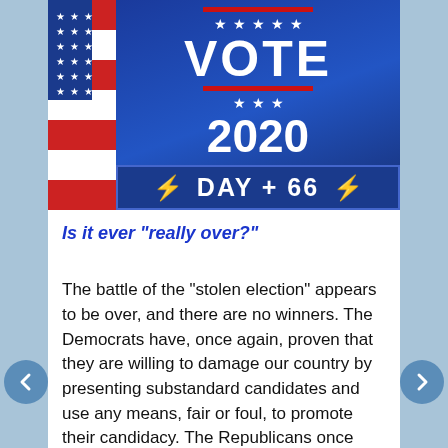[Figure (illustration): VOTE 2020 banner with American flag stripes on left, blue background with white stars, red lines, large white VOTE text, large 2020 text, and a DAY + 66 label bar with yellow lightning bolts on dark blue background]
Is it ever “really over?”
The battle of the “stolen election” appears to be over, and there are no winners. The Democrats have, once again, proven that they are willing to damage our country by presenting substandard candidates and use any means, fair or foul, to promote their candidacy. The Republicans once again have proven they have no guts, no platform, no coherent messaging, and no cooperation with in the party. The...